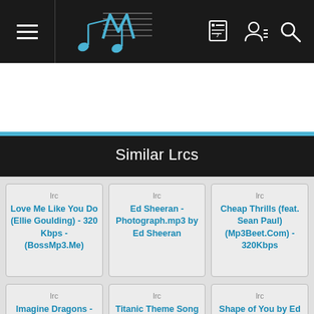Music LRC app navigation bar with logo, notebook, user, and search icons
[Figure (screenshot): White ad banner area]
Similar Lrcs
lrc
Love Me Like You Do (Ellie Goulding) - 320 Kbps - (BossMp3.Me)
lrc
Ed Sheeran - Photograph.mp3 by Ed Sheeran
lrc
Cheap Thrills (feat. Sean Paul) (Mp3Beet.Com) - 320Kbps
lrc
Imagine Dragons - Believer
lrc
Titanic Theme Song - My Heart Will Go On 320kbps(Comin...
lrc
Shape of You by Ed Sheeran